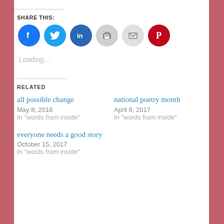SHARE THIS:
[Figure (infographic): Row of 6 social share icon circles: Facebook (blue), Twitter (light blue), LinkedIn (dark blue), Print (gray), Email (light gray), Pinterest (red)]
Loading...
RELATED
all possible change
May 8, 2016
In "words from inside"
national poetry month
April 9, 2017
In "words from inside"
everyone needs a good story
October 15, 2017
In "words from inside"